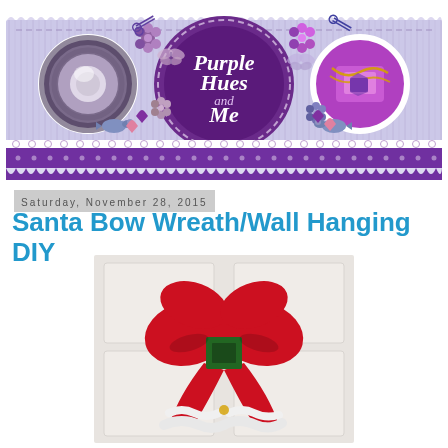[Figure (illustration): Purple Hues and Me blog header banner with purple/lavender background, decorative flowers, butterflies, birds, hearts, a wreath photo on the left circle, jewelry photo on the right circle, and center oval logo reading 'Purple Hues and Me']
Saturday, November 28, 2015
Santa Bow Wreath/Wall Hanging DIY
[Figure (photo): A large red felt Santa bow/wreath with green buckle center and white fur trim at the bottom, hanging on a white paneled door]